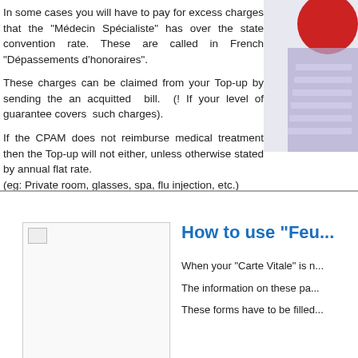In some cases you will have to pay for excess charges that the "Médecin Spécialiste" has over the state convention rate. These are called in French "Dépassements d'honoraires".
These charges can be claimed from your Top-up by sending the an acquitted bill. (! If your level of guarantee covers such charges).
If the CPAM does not reimburse medical treatment then the Top-up will not either, unless otherwise stated by annual flat rate. (eg: Private room, glasses, spa, flu injection, etc.)
[Figure (photo): Photo partially visible at top right of page, appears to show a medical or health-related image with red and purple tones.]
[Figure (photo): Image placeholder in bottom left section, appears to be a document or form image that is not fully loaded.]
How to use "Feu...
When your "Carte Vitale" is n...
The information on these pa...
These forms have to be filled...